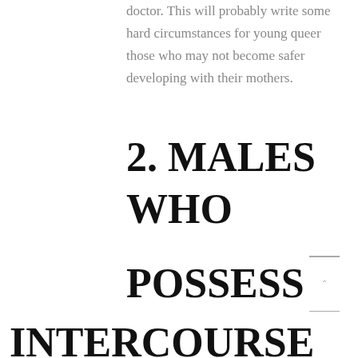doctor. This will probably write some hard circumstances for young queer those who may not become safer developing with their mothers.
2. MALES WHO POSSESS INTERCOURSE